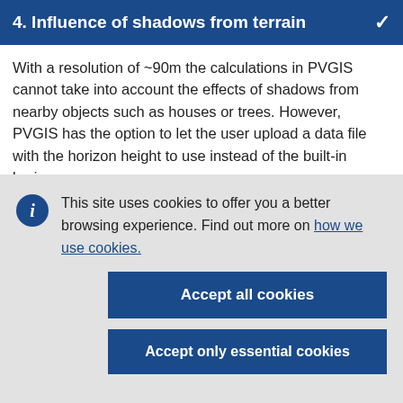4. Influence of shadows from terrain
With a resolution of ~90m the calculations in PVGIS cannot take into account the effects of shadows from nearby objects such as houses or trees. However, PVGIS has the option to let the user upload a data file with the horizon height to use instead of the built-in horizon
This site uses cookies to offer you a better browsing experience. Find out more on how we use cookies.
Accept all cookies
Accept only essential cookies